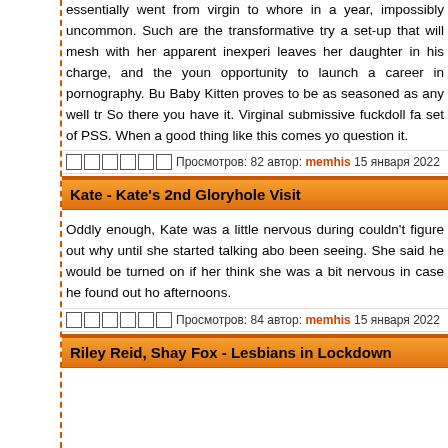essentially went from virgin to whore in a year, impossibly uncommon. Such are the transformative try a set-up that will mesh with her apparent inexperience leaves her daughter in his charge, and the young opportunity to launch a career in pornography. Bu Baby Kitten proves to be as seasoned as any well tr So there you have it. Virginal submissive fuckdoll fal set of PSS. When a good thing like this comes yo question it.
Просмотров: 82 автор: memhis 15 января 2022
Kate - Kate's 2nd Gloryhole Visit
[Figure (photo): Thumbnail image placeholder]
Oddly enough, Kate was a little nervous during couldn't figure out why until she started talking abo been seeing. She said he would be turned on if her think she was a bit nervous in case he found out ho afternoons.
Просмотров: 84 автор: memhis 15 января 2022
Riley Reid, Shay Fox - Lesbians in Lockdown
[Figure (photo): Thumbnail image placeholder]